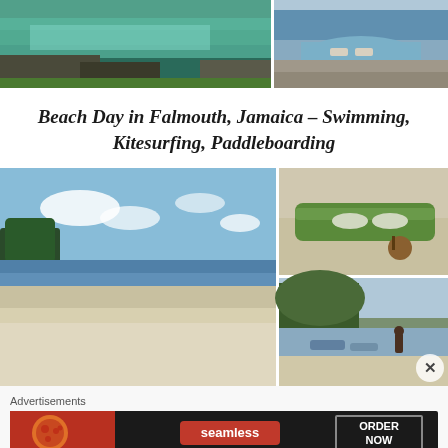[Figure (photo): Two photos side by side: left shows turquoise water over rocky coastline in Jamaica, right shows an infinity pool with two lounge chairs overlooking the ocean]
Beach Day in Falmouth, Jamaica – Swimming, Kitesurfing, Paddleboarding
[Figure (photo): Three beach photos: large left photo of a sandy beach with calm blue water and trees, top-right shows a surfboard or paddleboard on white sand, bottom-right shows a shaded beach area with small boats]
Advertisements
[Figure (photo): Seamless food delivery advertisement banner with pizza image on left, Seamless logo in center, and ORDER NOW button on right]